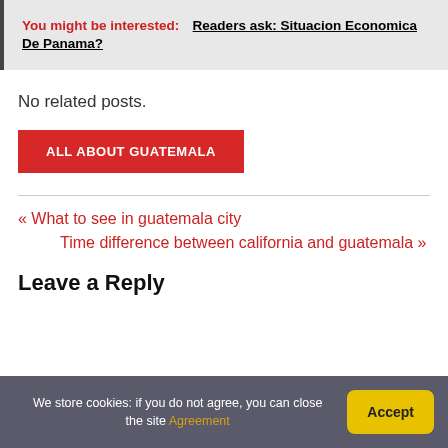You might be interested: Readers ask: Situacion Economica De Panama?
No related posts.
ALL ABOUT GUATEMALA
« What to see in guatemala city
Time difference between california and guatemala »
Leave a Reply
We store cookies: if you do not agree, you can close the site Agreement